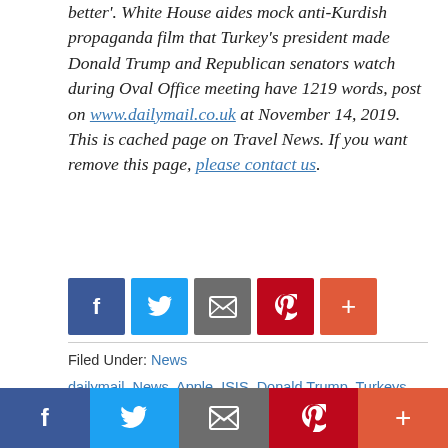better'. White House aides mock anti-Kurdish propaganda film that Turkey's president made Donald Trump and Republican senators watch during Oval Office meeting have 1219 words, post on www.dailymail.co.uk at November 14, 2019. This is cached page on Travel News. If you want remove this page, please contact us.
[Figure (other): Row of social sharing buttons: Facebook (blue), Twitter (light blue), Email (gray), Pinterest (red), More (orange-red)]
Filed Under: News
dailymail, News, Apple, ISIS, Donald Trump, Turkeys president Donald Trump Republican senators watch anti Kurd propaganda movie, stretches for 60 year olds
[Figure (other): Bottom sharing bar: Facebook, Twitter, Email, Pinterest, More buttons]